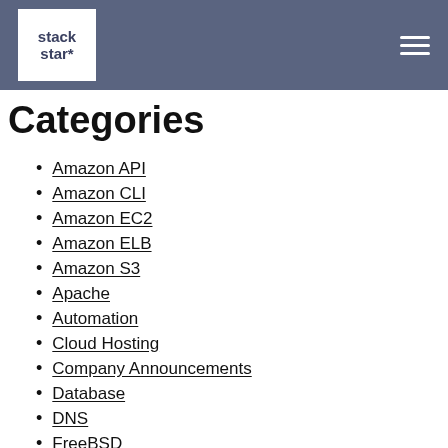stackstar*
Categories
Amazon API
Amazon CLI
Amazon EC2
Amazon ELB
Amazon S3
Apache
Automation
Cloud Hosting
Company Announcements
Database
DNS
FreeBSD
GIT
Hosting
HTTPS Everywhere